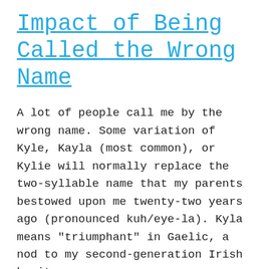Impact of Being Called the Wrong Name
A lot of people call me by the wrong name. Some variation of Kyle, Kayla (most common), or Kylie will normally replace the two-syllable name that my parents bestowed upon me twenty-two years ago (pronounced kuh/eye-la). Kyla means “triumphant” in Gaelic, a nod to my second-generation Irish heritage.
January 11, 2020